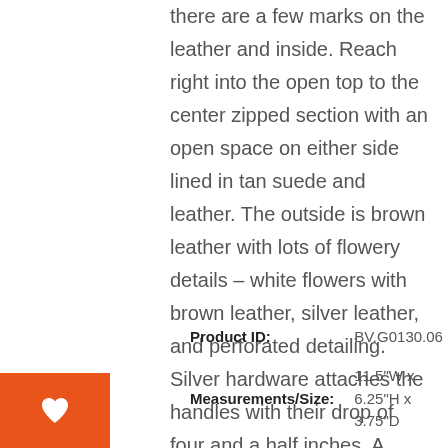there are a few marks on the leather and inside. Reach right into the open top to the center zipped section with an open space on either side lined in tan suede and leather. The outside is brown leather with lots of flowery details – white flowers with brown leather, silver leather, and perforated detailing. Silver hardware attaches the handles with their drop of four and a half inches. A small bag that brings a whole garden full of flowers!
| Label | Value |
| --- | --- |
| Product ID: | BV.G0130.06 |
| Measurements/Size: | 11.5"W x 6.25"H x 3.75"D |
| Condition: | Very Good |
[Figure (other): Orange heart/favorite button in lower left corner]